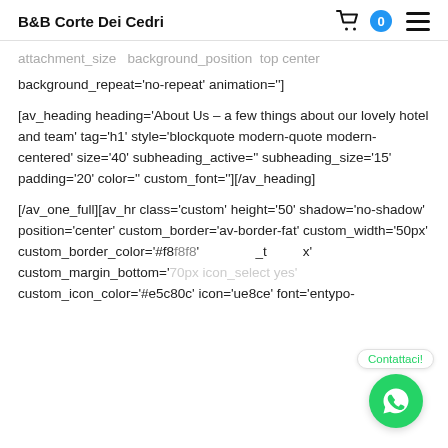B&B Corte Dei Cedri
attachment_size  background_position top center background_repeat='no-repeat' animation='']
[av_heading heading='About Us – a few things about our lovely hotel and team' tag='h1' style='blockquote modern-quote modern-centered' size='40' subheading_active='' subheading_size='15' padding='20' color='' custom_font=''][/av_heading]
[/av_one_full][av_hr class='custom' height='50' shadow='no-shadow' position='center' custom_border='av-border-fat' custom_width='50px' custom_border_color='#f8f8f8' custom_margin_bottom='70px icon_select yes' custom_icon_color='#e5c80c' icon='ue8ce' font='entypo-